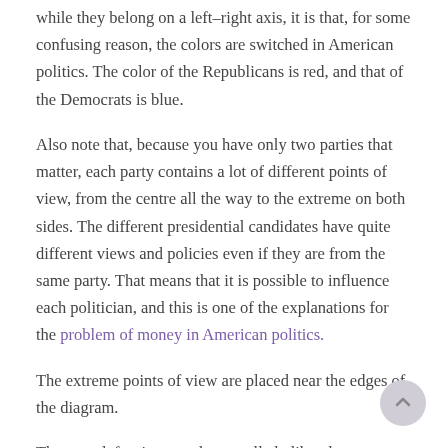while they belong on a left–right axis, it is that, for some confusing reason, the colors are switched in American politics. The color of the Republicans is red, and that of the Democrats is blue.
Also note that, because you have only two parties that matter, each party contains a lot of different points of view, from the centre all the way to the extreme on both sides. The different presidential candidates have quite different views and policies even if they are from the same party. That means that it is possible to influence each politician, and this is one of the explanations for the problem of money in American politics.
The extreme points of view are placed near the edges of the diagram.
The most left-wing people are called «liberals» or